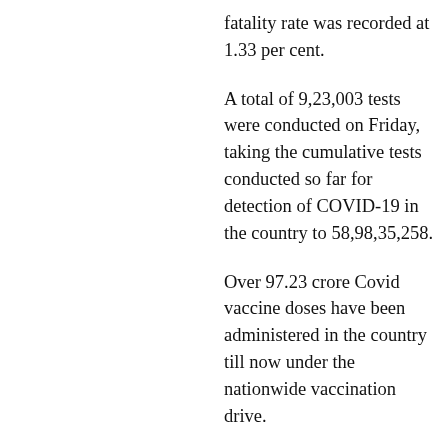fatality rate was recorded at 1.33 per cent.
A total of 9,23,003 tests were conducted on Friday, taking the cumulative tests conducted so far for detection of COVID-19 in the country to 58,98,35,258.
Over 97.23 crore Covid vaccine doses have been administered in the country till now under the nationwide vaccination drive.
India's COVID-19 tally had crossed the 20-lakh mark